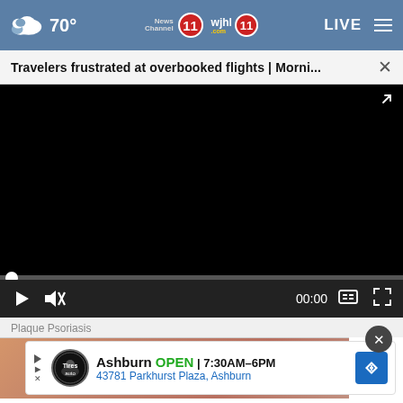70° News Channel 11 wjhl.com 11 LIVE ≡
Travelers frustrated at overbooked flights | Morni...
[Figure (screenshot): Black video player area, paused, with progress bar at beginning and playback controls showing 00:00]
Plaque Psoriasis
[Figure (infographic): Advertisement banner for Tires Auto shop in Ashburn showing logo, OPEN 7:30AM-6PM, 43781 Parkhurst Plaza Ashburn, with blue arrow sign icon]